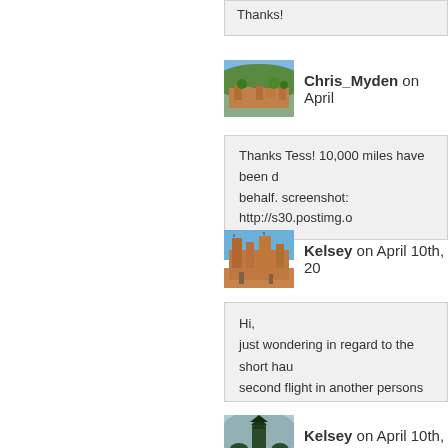Thanks!
Chris_Myden on April
[Figure (photo): Aerial photo of a city with orange rooftops and green trees]
Thanks Tess! 10,000 miles have been d behalf. screenshot: http://s30.postimg.o
Kelsey on April 10th, 20
[Figure (photo): Photo of a large ancient mud-brick mosque or building in an arid setting]
Hi,
just wondering in regard to the short hau second flight in another persons name f thanks
Kelsey on April 10th, 20
[Figure (photo): Photo of a Balinese temple with tall pagoda-style tower reflected in a misty lake]